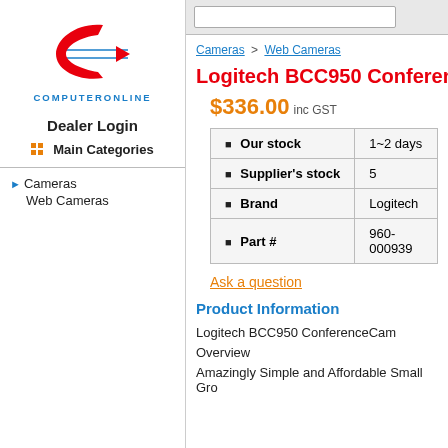[Figure (logo): ComputerOnline logo: red C with arrow graphic, blue text COMPUTERONLINE]
Dealer Login
Main Categories
Cameras
Web Cameras
Cameras > Web Cameras
Logitech BCC950 Conferenc
$336.00 inc GST
| Our stock | 1~2 days |
| Supplier's stock | 5 |
| Brand | Logitech |
| Part # | 960-000939 |
Ask a question
Product Information
Logitech BCC950 ConferenceCam
Overview
Amazingly Simple and Affordable Small Gro